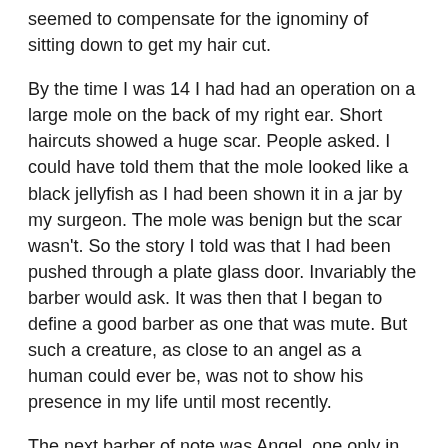seemed to compensate for the ignominy of sitting down to get my hair cut.
By the time I was 14 I had had an operation on a large mole on the back of my right ear. Short haircuts showed a huge scar. People asked. I could have told them that the mole looked like a black jellyfish as I had been shown it in a jar by my surgeon. The mole was benign but the scar wasn't. So the story I told was that I had been pushed through a plate glass door. Invariably the barber would ask. It was then that I began to define a good barber as one that was mute. But such a creature, as close to an angel as a human could ever be, was not to show his presence in my life until most recently.
The next barber of note was Angel, one only in name, a young man who cut my hair at Arsenal Buenos Aires, in the very room where Kapitän zur See Hans Langsdorff shot himself with a Luger on December 20, 1939. I believe this story is apocryphal as the Captain of the Graf Spee surely must have shot himself in a hotel room in Montevideo. I was a raw Argentine Naval draftee. He seriously asked me how I